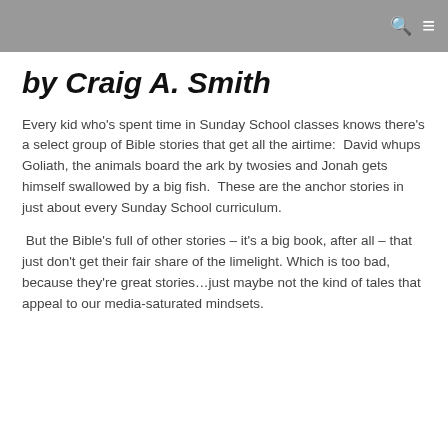by Craig A. Smith
Every kid who's spent time in Sunday School classes knows there's a select group of Bible stories that get all the airtime:  David whups Goliath, the animals board the ark by twosies and Jonah gets himself swallowed by a big fish.  These are the anchor stories in just about every Sunday School curriculum.
But the Bible's full of other stories – it's a big book, after all – that just don't get their fair share of the limelight. Which is too bad, because they're great stories…just maybe not the kind of tales that appeal to our media-saturated mindsets.